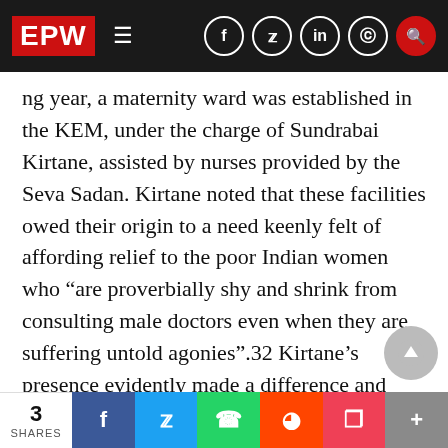EPW
ng year, a maternity ward was established in the KEM, under the charge of Sundrabai Kirtane, assisted by nurses provided by the Seva Sadan. Kirtane noted that these facilities owed their origin to a need keenly felt of affording relief to the poor Indian women who “are proverbially shy and shrink from consulting male doctors even when they are suffering untold agonies”.32 Kirtane’s presence evidently made a difference and from 16,359 patients in 1914, the dispensary recorded an increase to 18,235 patients in 1917, and from 65 in-patients in 1915, the number doubled to 169 in 1917. Similarly, when the In…
3 SHARES | Facebook | Twitter | WhatsApp | Reddit | Pocket | More